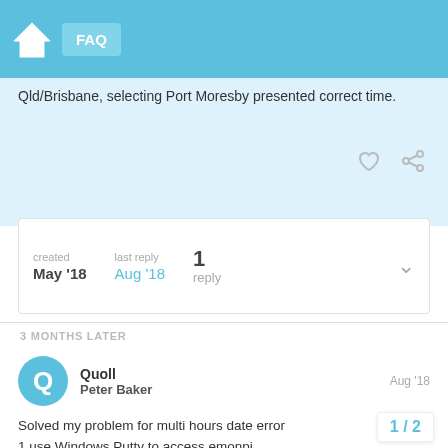FAQ
Qld/Brisbane, selecting Port Moresby presented correct time.
created May '18   last reply Aug '18   1 reply
3 MONTHS LATER
Quoll
Peter Baker
Aug '18
Solved my problem for multi hours date error
1 use Windows Putty to access emonpi
2 make data read write
3 read Date
4 Change Date time to correct for error in (5Hr45Min change for me)
1 / 2